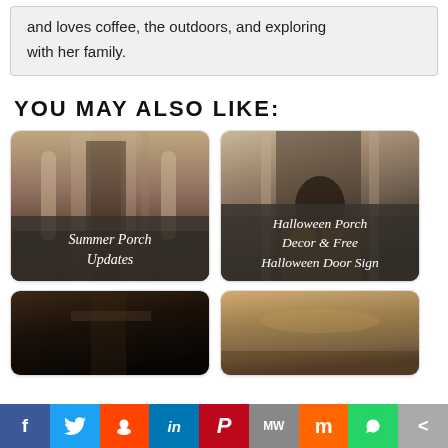and loves coffee, the outdoors, and exploring with her family.
YOU MAY ALSO LIKE:
[Figure (photo): Front porch of a house with columns and a glass door, dark stone base, potted plants. Overlay text: Summer Porch Updates]
[Figure (photo): Front door of a house decorated for Halloween with pumpkins. Overlay text: Halloween Porch Decor & Free Halloween Door Sign]
[Figure (photo): Dark porch entryway, partial view]
[Figure (photo): Porch ceiling with warm wood tones, partial view]
Facebook Twitter Reddit LinkedIn Pinterest MeWe Mix WhatsApp Share